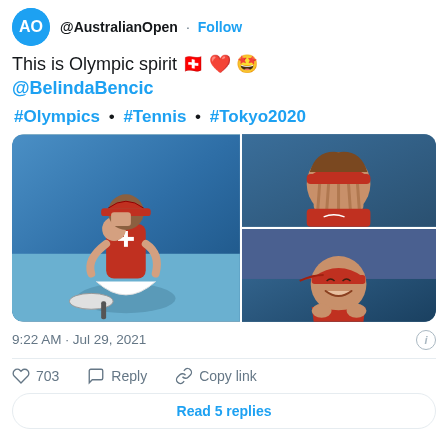@AustralianOpen · Follow
This is Olympic spirit 🇨🇭 ❤️ 🤩 @BelindaBencic
#Olympics • #Tennis • #Tokyo2020
[Figure (photo): Three photos of Belinda Bencic celebrating her Olympic gold medal in tennis at Tokyo 2020 — left: sitting on court crying, top right: close-up covering face, bottom right: laughing and clapping]
9:22 AM · Jul 29, 2021
703  Reply  Copy link
Read 5 replies